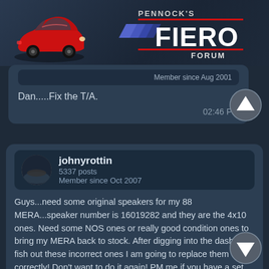[Figure (screenshot): Pennock's Fiero Forum header banner with red Fiero car illustration and logo]
Member since Aug 2001
Dan.....Fix the T/A.
02:46 PM
johnyrottin
5337 posts
Member since Oct 2007
Guys...need some original speakers for my 88 MERA...speaker number is 16019282 and they are the 4x10 ones. Need some NOS ones or really good condition ones to bring my MERA back to stock. After digging into the dash to fish out these incorrect ones I am going to replace them once correctly! Don't want to do it again! PM me if you have a set you are willing to part with. Cheers!
08:26 PM